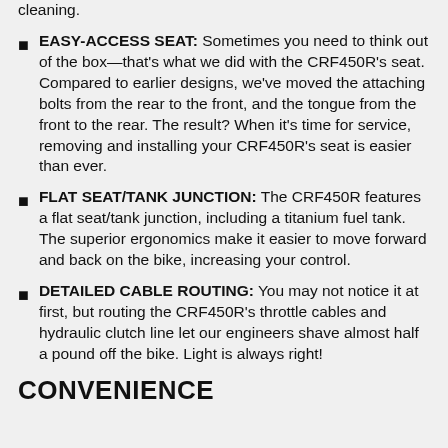cleaning.
EASY-ACCESS SEAT: Sometimes you need to think out of the box—that's what we did with the CRF450R's seat. Compared to earlier designs, we've moved the attaching bolts from the rear to the front, and the tongue from the front to the rear. The result? When it's time for service, removing and installing your CRF450R's seat is easier than ever.
FLAT SEAT/TANK JUNCTION: The CRF450R features a flat seat/tank junction, including a titanium fuel tank. The superior ergonomics make it easier to move forward and back on the bike, increasing your control.
DETAILED CABLE ROUTING: You may not notice it at first, but routing the CRF450R's throttle cables and hydraulic clutch line let our engineers shave almost half a pound off the bike. Light is always right!
CONVENIENCE